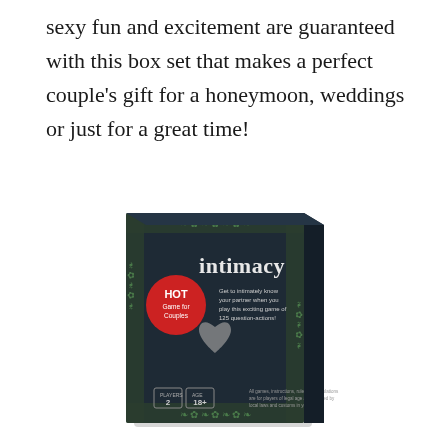sexy fun and excitement are guaranteed with this box set that makes a perfect couple's gift for a honeymoon, weddings or just for a great time!
[Figure (photo): Product box for 'intimacy' game - a dark navy/black box with leaf border decoration, red circular badge reading 'HOT Game for Couples', the word 'intimacy' in large white text, a heart shape, and small boxes at bottom showing '2' players and '18+' age rating.]